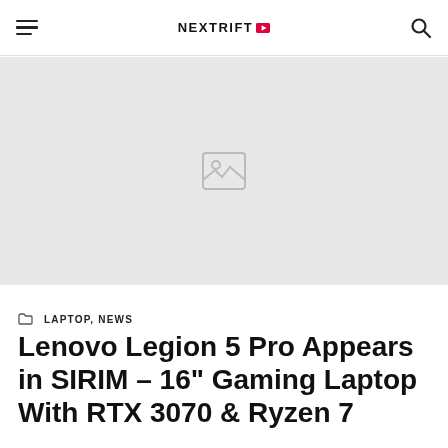NEXTRIFT
[Figure (photo): Placeholder hero image with broken image icon on a light gray background]
LAPTOP, NEWS
Lenovo Legion 5 Pro Appears in SIRIM – 16" Gaming Laptop With RTX 3070 & Ryzen 7